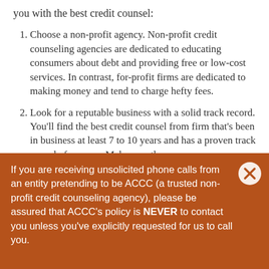you with the best credit counsel:
Choose a non-profit agency. Non-profit credit counseling agencies are dedicated to educating consumers about debt and providing free or low-cost services. In contrast, for-profit firms are dedicated to making money and tend to charge hefty fees.
Look for a reputable business with a solid track record. You'll find the best credit counsel from firm that's been in business at least 7 to 10 years and has a proven track record of success. Make sure the
If you are receiving unsolicited phone calls from an entity pretending to be ACCC (a trusted non-profit credit counseling agency), please be assured that ACCC's policy is NEVER to contact you unless you've explicitly requested for us to call you.